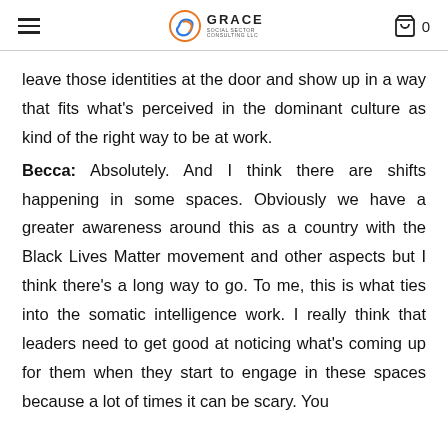GRACE Social Sector Consulting LLC
leave those identities at the door and show up in a way that fits what's perceived in the dominant culture as kind of the right way to be at work.
Becca: Absolutely. And I think there are shifts happening in some spaces. Obviously we have a greater awareness around this as a country with the Black Lives Matter movement and other aspects but I think there's a long way to go. To me, this is what ties into the somatic intelligence work. I really think that leaders need to get good at noticing what's coming up for them when they start to engage in these spaces because a lot of times it can be scary. You